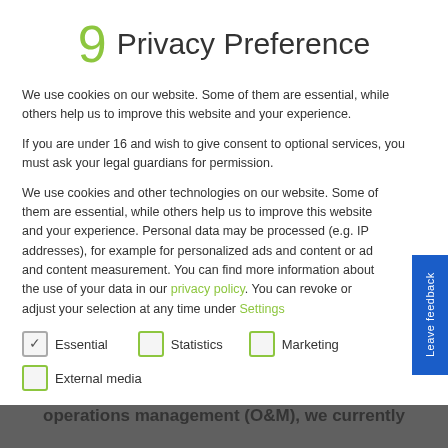9 Privacy Preference
We use cookies on our website. Some of them are essential, while others help us to improve this website and your experience.
If you are under 16 and wish to give consent to optional services, you must ask your legal guardians for permission.
We use cookies and other technologies on our website. Some of them are essential, while others help us to improve this website and your experience. Personal data may be processed (e.g. IP addresses), for example for personalized ads and content or ad and content measurement. You can find more information about the use of your data in our privacy policy. You can revoke or adjust your selection at any time under Settings
Essential
Statistics
Marketing
External media
stages of the value chain in the realisation and operation of PV power plants. In technical operations management (O&M), we currently